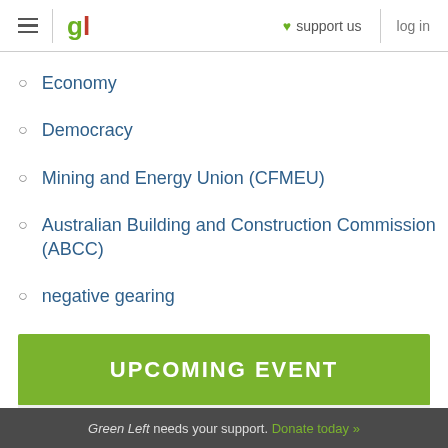gl | ♥ support us | log in
Economy
Democracy
Mining and Energy Union (CFMEU)
Australian Building and Construction Commission (ABCC)
negative gearing
housing boom
UPCOMING EVENT
Green Left needs your support. Donate today »